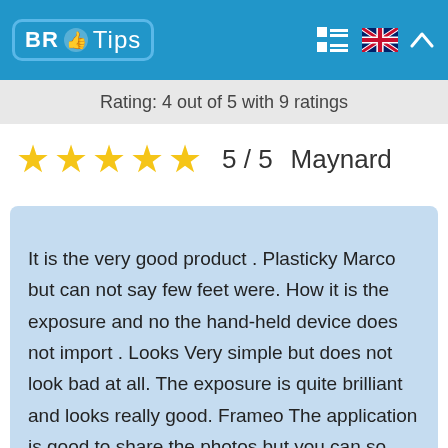BR Tips
Rating: 4 out of 5 with 9 ratings
★★★★★  5 / 5  Maynard
It is the very good product . Plasticky Marco but can not say few feet were. How it is the exposure and no the hand-held device does not import . Looks Very simple but does not look bad at all. The exposure is quite brilliant and looks really good. Frameo The application is good to share the photos but you can so only 10 8trms the time. Also it remarks that so only you can send a video the time, by means of an application. If you are copying given on by means of the paper by heart